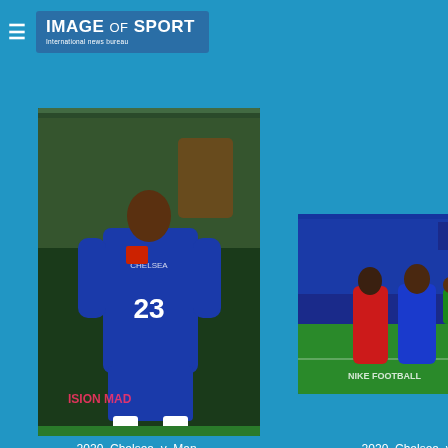IMAGE of SPORT — International news bureau
[Figure (photo): Chelsea player wearing number 23 blue jersey looking upward at a football stadium]
2020_Chelsea_v_Man_Utd_ESPA_0362 cop...jpg
[Figure (photo): Chelsea vs Man United football match action at Stamford Bridge, players competing for the ball, 'THE PRIDE' text visible in stadium]
2020_Chelsea_v_Man_Utd_ESPA_0345 cop...jpg
[Figure (photo): Chelsea vs Man United football match, player in red shirt near the goal]
[Figure (photo): Chelsea player number 23 in blue shirt at a match]